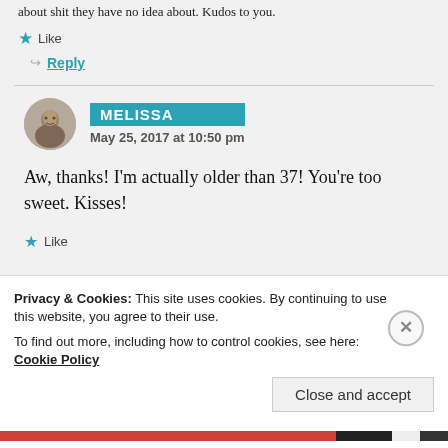about shit they have no idea about. Kudos to you.
★ Like
↳ Reply
MELISSA
May 25, 2017 at 10:50 pm
Aw, thanks! I'm actually older than 37! You're too sweet. Kisses!
★ Like
Privacy & Cookies: This site uses cookies. By continuing to use this website, you agree to their use.
To find out more, including how to control cookies, see here: Cookie Policy
Close and accept